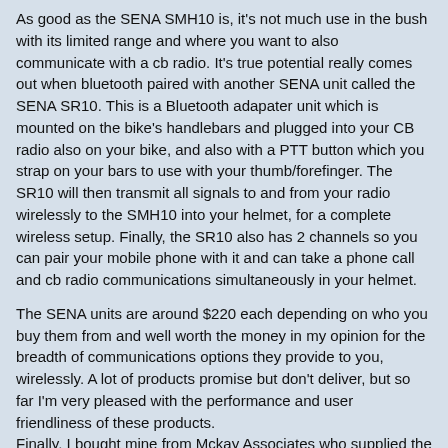As good as the SENA SMH10 is, it's not much use in the bush with its limited range and where you want to also communicate with a cb radio. It's true potential really comes out when bluetooth paired with another SENA unit called the SENA SR10. This is a Bluetooth adapater unit which is mounted on the bike's handlebars and plugged into your CB radio also on your bike, and also with a PTT button which you strap on your bars to use with your thumb/forefinger. The SR10 will then transmit all signals to and from your radio wirelessly to the SMH10 into your helmet, for a complete wireless setup. Finally, the SR10 also has 2 channels so you can pair your mobile phone with it and can take a phone call and cb radio communications simultaneously in your helmet.
The SENA units are around $220 each depending on who you buy them from and well worth the money in my opinion for the breadth of communications options they provide to you, wirelessly. A lot of products promise but don't deliver, but so far I'm very pleased with the performance and user friendliness of these products.
Finally, I bought mine from Mckay Associates who supplied the correct lead to match my 2 watt uniden radio so I could plug it into the SR10. Iain, who owns the business, was very good to deal with.
http://www.mckayassociates.com.au/ (again, no relationship, just recommending a good company)
So hopefully this review has given some food for thought for those investigating a very tidy comms setup, which no longer involves plugging-